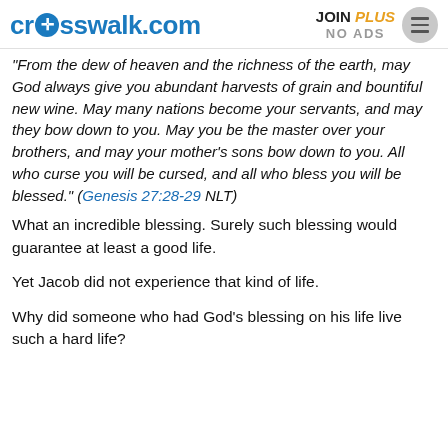crosswalk.com | JOIN PLUS NO ADS
"From the dew of heaven and the richness of the earth, may God always give you abundant harvests of grain and bountiful new wine. May many nations become your servants, and may they bow down to you. May you be the master over your brothers, and may your mother's sons bow down to you. All who curse you will be cursed, and all who bless you will be blessed." (Genesis 27:28-29 NLT)
What an incredible blessing. Surely such blessing would guarantee at least a good life.
Yet Jacob did not experience that kind of life.
Why did someone who had God's blessing on his life live such a hard life?